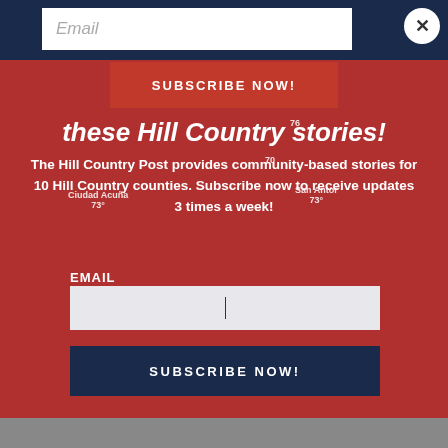[Figure (screenshot): Newsletter subscription modal popup overlay on a red background map of Hill Country Texas region. Dark navy bar at top, gray bar at bottom. Close (X) button in top right corner.]
Email
SUBSCRIBE NOW!
these Hill Country stories!
The Hill Country Post provides community-based stories for 10 Hill Country counties. Subscribe now to receive updates 3 times a week!
EMAIL
SUBSCRIBE NOW!